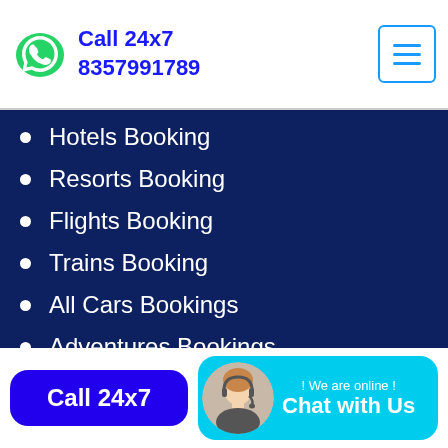Call 24x7 8357991789
Hotels Booking
Resorts Booking
Flights Booking
Trains Booking
All Cars Bookings
Adventures Bookings
Tour Guide Services
Call 24x7
! We are online ! Chat with Us